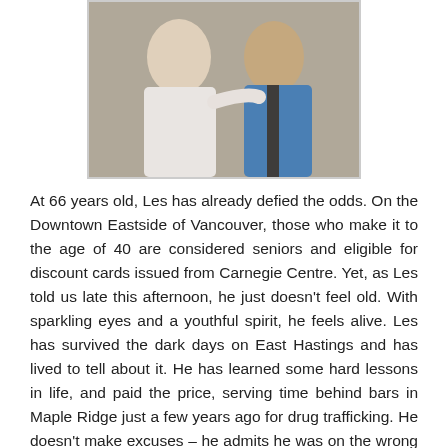[Figure (photo): Two people posing together for a photo. One person on the left wearing a white top, one person on the right wearing a blue jacket.]
At 66 years old, Les has already defied the odds.  On the Downtown Eastside of Vancouver, those who make it to the age of 40 are considered seniors and eligible for discount cards issued from Carnegie Centre.  Yet, as Les told us late this afternoon, he just doesn't feel old.  With sparkling eyes and a youthful spirit, he feels alive.  Les has survived the dark days on East Hastings and has lived to tell about it.  He has learned some hard lessons in life, and paid the price, serving time behind bars in Maple Ridge just a few years ago for drug trafficking.  He doesn't make excuses – he admits he was on the wrong path, and prison was what he needed to make the choice to never go back to old habits.  He lives without regret, and wouldn't change his past, as it has shaped who he is today. With a toothless smile and laugh lines in all the right places, Les demonstrates an